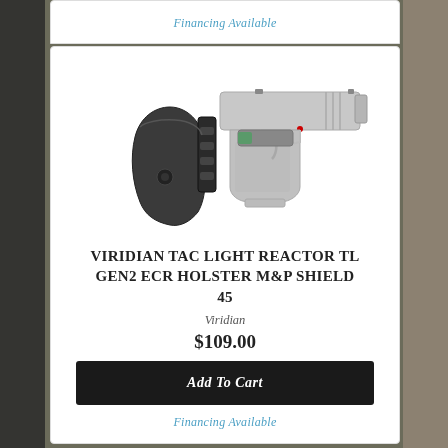Financing Available
[Figure (photo): Product photo of a Viridian TAC Light Reactor TL Gen2 ECR holster shown alongside a Smith & Wesson M&P Shield 45 pistol with tactical light attached. The holster is black leather and the firearm is shown in gray.]
VIRIDIAN TAC LIGHT REACTOR TL GEN2 ECR HOLSTER M&P SHIELD 45
Viridian
$109.00
Add To Cart
Financing Available